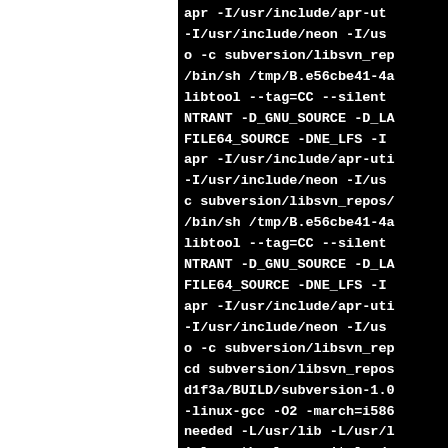[Figure (screenshot): Terminal/console output showing compiler and build tool commands including libtool, gcc flags, apr includes, subversion library references, clipped on the right side. Left half of page is white (blank), right half is black terminal with white monospace text.]